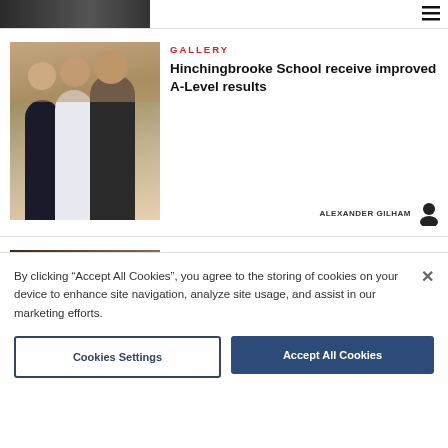[Figure (photo): Partially visible top article card with dark image and hamburger menu icon]
GALLERY
Hinchingbrooke School receive improved A-Level results
[Figure (photo): Three young people smiling together in a pub/bar setting]
ALEXANDER GILHAM
Pub regulars celebrate life of former landlord who died during pandemic
[Figure (photo): Group of people at a bar/pub]
DEBBIE DAVIES
By clicking “Accept All Cookies”, you agree to the storing of cookies on your device to enhance site navigation, analyze site usage, and assist in our marketing efforts.
Cookies Settings
Accept All Cookies